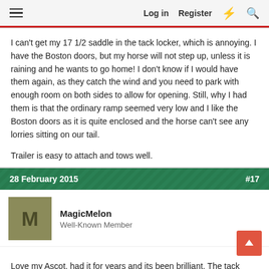Log in  Register
I can't get my 17 1/2 saddle in the tack locker, which is annoying. I have the Boston doors, but my horse will not step up, unless it is raining and he wants to go home! I don't know if I would have them again, as they catch the wind and you need to park with enough room on both sides to allow for opening. Still, why I had them is that the ordinary ramp seemed very low and I like the Boston doors as it is quite enclosed and the horse can't see any lorries sitting on our tail.
Trailer is easy to attach and tows well.
28 February 2015  #17
MagicMelon
Well-Known Member
Love my Ascot, had it for years and its been brilliant. The tack locker does generally fit my 17" saddles but it depends on the